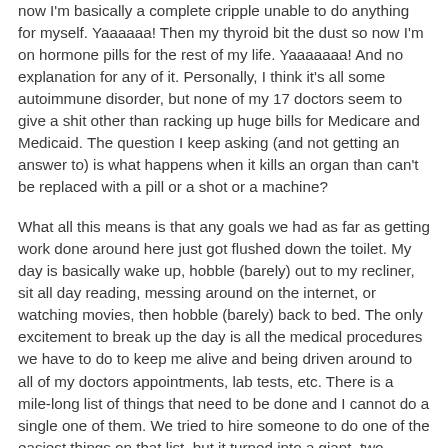now I'm basically a complete cripple unable to do anything for myself. Yaaaaaa! Then my thyroid bit the dust so now I'm on hormone pills for the rest of my life. Yaaaaaaa! And no explanation for any of it. Personally, I think it's all some autoimmune disorder, but none of my 17 doctors seem to give a shit other than racking up huge bills for Medicare and Medicaid. The question I keep asking (and not getting an answer to) is what happens when it kills an organ than can't be replaced with a pill or a shot or a machine?
What all this means is that any goals we had as far as getting work done around here just got flushed down the toilet. My day is basically wake up, hobble (barely) out to my recliner, sit all day reading, messing around on the internet, or watching movies, then hobble (barely) back to bed. The only excitement to break up the day is all the medical procedures we have to do to keep me alive and being driven around to all of my doctors appointments, lab tests, etc. There is a mile-long list of things that need to be done and I cannot do a single one of them. We tried to hire someone to do one of the easiest things on that list, but it turned into a giant, two-month-long clusterfuck, that we are still catching